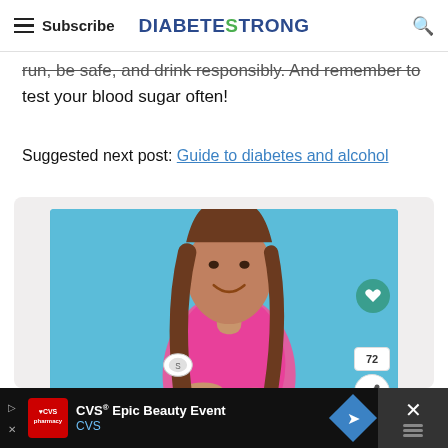Subscribe | DIABETESTRONG
run, be safe, and drink responsibly. And remember to test your blood sugar often!
Suggested next post: Guide to diabetes and alcohol
[Figure (photo): Woman in pink athletic wear smiling, with a CGM sensor on her upper arm, against a blue wall background. Overlaid like (heart) button, count of 72, and share button on the right side.]
CVS® Epic Beauty Event CVS [advertisement]